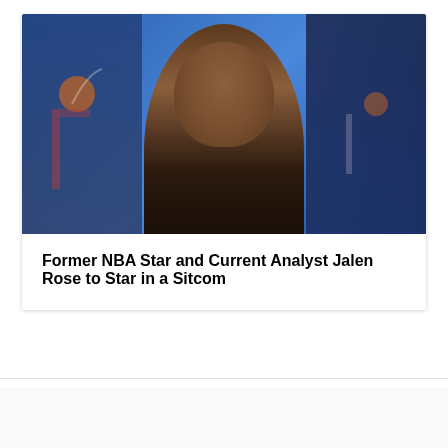[Figure (photo): Photo of Jalen Rose, a former NBA player and current sports analyst, smiling in a suit against a blue background. Background images of basketball scenes visible on left and right sides.]
Former NBA Star and Current Analyst Jalen Rose to Star in a Sitcom
ABOUT THE AUTHOR